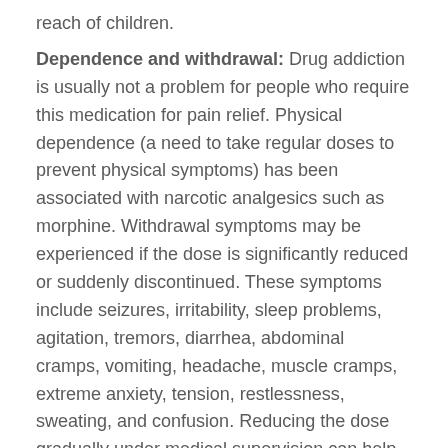reach of children.
Dependence and withdrawal: Drug addiction is usually not a problem for people who require this medication for pain relief. Physical dependence (a need to take regular doses to prevent physical symptoms) has been associated with narcotic analgesics such as morphine. Withdrawal symptoms may be experienced if the dose is significantly reduced or suddenly discontinued. These symptoms include seizures, irritability, sleep problems, agitation, tremors, diarrhea, abdominal cramps, vomiting, headache, muscle cramps, extreme anxiety, tension, restlessness, sweating, and confusion. Reducing the dose gradually under medical supervision can help prevent or decrease these withdrawal symptoms when this medication is no longer required for pain control.
Dizziness: Morphine and other narcotics may cause dramatically reduced blood pressure, resulting in dizziness and unsteadiness. To reduce the possibility of severe dizziness, rise slowly when standing from a sitting or lying position.